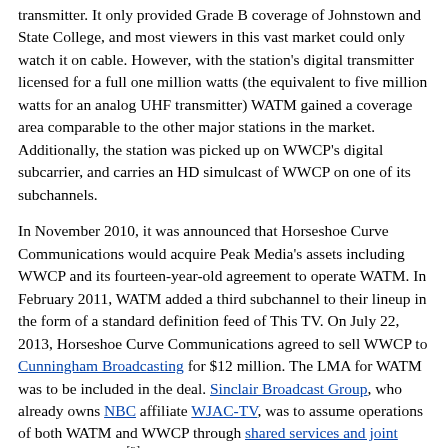transmitter. It only provided Grade B coverage of Johnstown and State College, and most viewers in this vast market could only watch it on cable. However, with the station's digital transmitter licensed for a full one million watts (the equivalent to five million watts for an analog UHF transmitter) WATM gained a coverage area comparable to the other major stations in the market. Additionally, the station was picked up on WWCP's digital subcarrier, and carries an HD simulcast of WWCP on one of its subchannels.
In November 2010, it was announced that Horseshoe Curve Communications would acquire Peak Media's assets including WWCP and its fourteen-year-old agreement to operate WATM. In February 2011, WATM added a third subchannel to their lineup in the form of a standard definition feed of This TV. On July 22, 2013, Horseshoe Curve Communications agreed to sell WWCP to Cunningham Broadcasting for $12 million. The LMA for WATM was to be included in the deal. Sinclair Broadcast Group, who already owns NBC affiliate WJAC-TV, was to assume operations of both WATM and WWCP through shared services and joint sales agreements.[3] However, on February 20, 2014, Horseshoe Curve informed the FCC that the sale of WWCP had fallen through;[4] two years later, on January 8, 2016, Cunningham agreed to program WWCP under a time brokerage agreement.[5] On